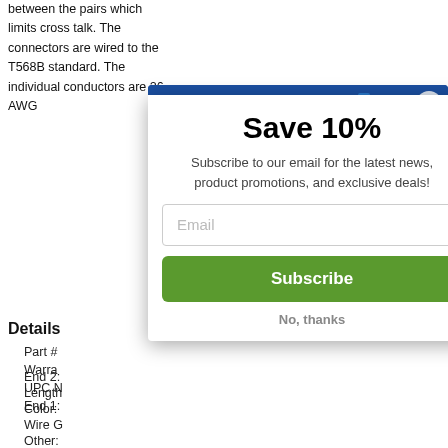between the pairs which limits cross talk. The connectors are wired to the T568B standard. The individual conductors are 26 AWG (truncated) patch ca... conducto... features... longer ca...
Details
Part #
Warra...
UPC N...
End 1:
End 2:
Length
Color:
Wire G...
Other:
Helpful D...
PDF Spec Sheet 📄
[Figure (screenshot): Modal popup overlay showing a 'Save 10%' email subscription prompt with a blue banner containing cable connector illustrations, a text subtitle, email input field, green Subscribe button, and 'No, thanks' link.]
Save 10%
Subscribe to our email for the latest news, product promotions, and exclusive deals!
Email
Subscribe
No, thanks